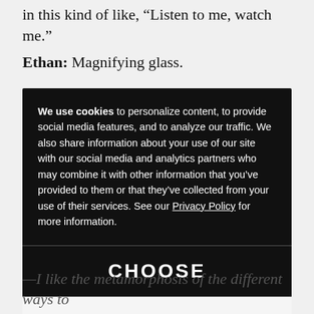in this kind of like, “Listen to me, watch me.”
Ethan: Magnifying glass.
[Figure (screenshot): Cookie consent popup overlay with dark background. Contains text: 'We use cookies to personalize content, to provide social media features, and to analyze our traffic. We also share information about your use of our site with our social media and analytics partners who may combine it with other information that you've provided to them or that they've collected from your use of their services. See our Privacy Policy for more information.' Below a divider is a 'CHOOSE' button section and an 'ACCEPT ALL' button section.]
—I like the metamorphosis of the different ways to